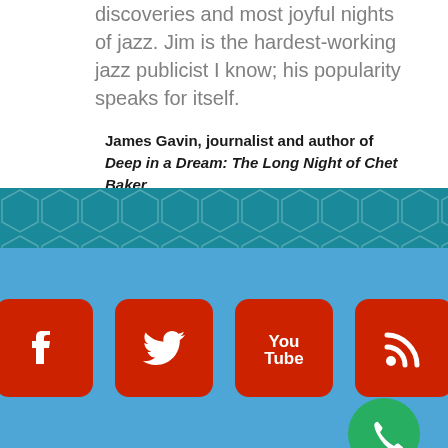discoveries and most joyful nights of jazz. Jim is the hardest-working jazz publicist I know; his popularity speaks for itself.
James Gavin, journalist and author of Deep in a Dream: The Long Night of Chet Baker
[Figure (infographic): Teal decorative band with hexagon pattern]
[Figure (infographic): Social media icons: Facebook, Twitter, YouTube, RSS feed on blue background with green phone button]
Copyright 2024 Jazz Press Services